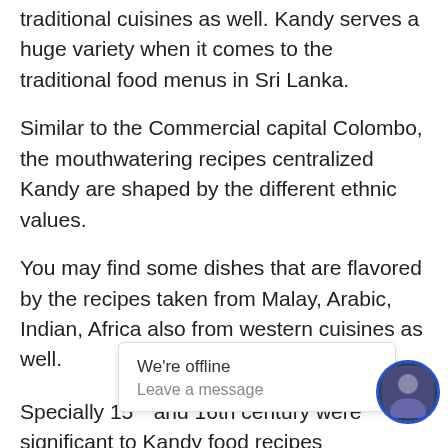traditional cuisines as well. Kandy serves a huge variety when it comes to the traditional food menus in Sri Lanka.
Similar to the Commercial capital Colombo, the mouthwatering recipes centralized Kandy are shaped by the different ethnic values.
You may find some dishes that are flavored by the recipes taken from Malay, Arabic, Indian, Africa also from western cuisines as well.
Specially 15th and 16th century were significant to Kandy food recipes periodically for the political, economic and social upheavals too.
What makes Kandy distinguish in its food menus? A